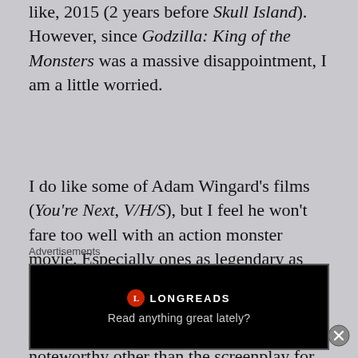like, 2015 (2 years before Skull Island). However, since Godzilla: King of the Monsters was a massive disappointment, I am a little worried.
I do like some of Adam Wingard's films (You're Next, V/H/S), but I feel he won't fare too well with an action monster movie. Especially ones as legendary as these two. We have Michael Dougherty as a story writer, who co-wrote King of the Monsters but has done nothing else noteworthy other than the screenplay for X2: X-Men United in 2003, Zach Shields as a story writer, who also co-wrote King of the
Advertisements
[Figure (other): Longreads advertisement banner with black background, Longreads logo and text 'Read anything great lately?']